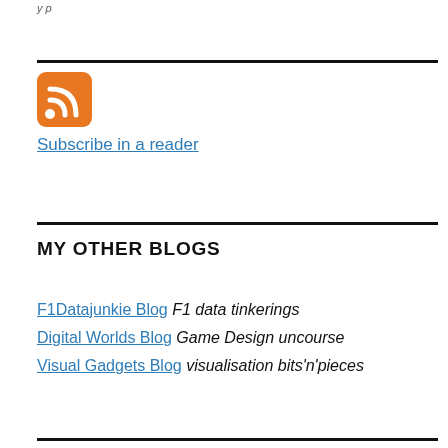y p
[Figure (logo): RSS feed orange icon with white wifi-style signal symbol]
Subscribe in a reader
MY OTHER BLOGS
F1Datajunkie Blog F1 data tinkerings
Digital Worlds Blog Game Design uncourse
Visual Gadgets Blog visualisation bits'n'pieces